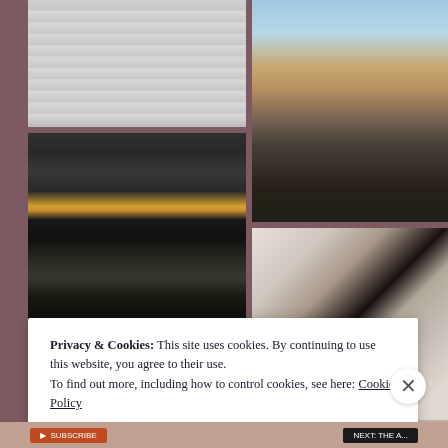[Figure (photo): Notebook or lined paper, gray tones, top-left quadrant]
[Figure (photo): Desert highway with red rock formations, top-right]
[Figure (photo): Urban street scene with elevated train, city buildings, nighttime lighting]
[Figure (photo): Black and white figure from behind, interior setting]
[Figure (photo): Close-up black and white photo of a face/eyes]
Privacy & Cookies: This site uses cookies. By continuing to use this website, you agree to their use.
To find out more, including how to control cookies, see here: Cookie Policy
Close and accept